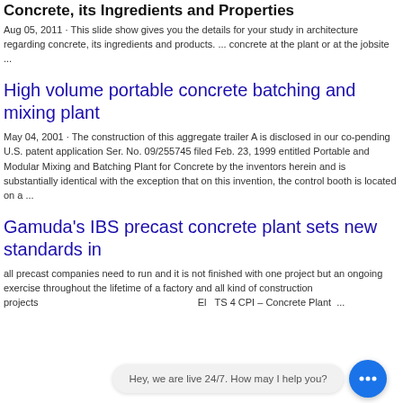Concrete, its Ingredients and Properties
Aug 05, 2011 · This slide show gives you the details for your study in architecture regarding concrete, its ingredients and products. ... concrete at the plant or at the jobsite ...
High volume portable concrete batching and mixing plant
May 04, 2001 · The construction of this aggregate trailer A is disclosed in our co-pending U.S. patent application Ser. No. 09/255745 filed Feb. 23, 1999 entitled Portable and Modular Mixing and Batching Plant for Concrete by the inventors herein and is substantially identical with the exception that on this invention, the control booth is located on a ...
Gamuda's IBS precast concrete plant sets new standards in
all precast companies need to run and it is not finished with one project but an ongoing exercise throughout the lifetime of a factory and all kind of construction projects ... El... TS 4 CPI – Concrete Plant ...